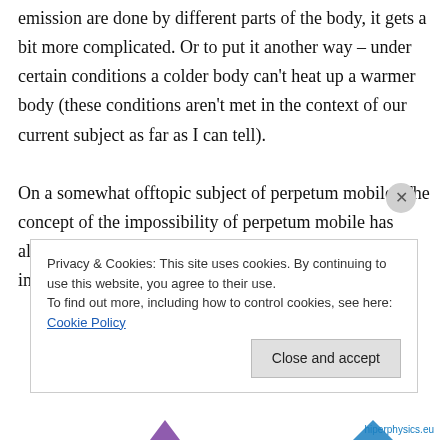emission are done by different parts of the body, it gets a bit more complicated. Or to put it another way – under certain conditions a colder body can't heat up a warmer body (these conditions aren't met in the context of our current subject as far as I can tell).

On a somewhat offtopic subject of perpetum mobile. The concept of the impossibility of perpetum mobile has always been somewhat weird to me. As far as I can tell in a closed
Privacy & Cookies: This site uses cookies. By continuing to use this website, you agree to their use.
To find out more, including how to control cookies, see here: Cookie Policy
Close and accept
hiperphysics.eu